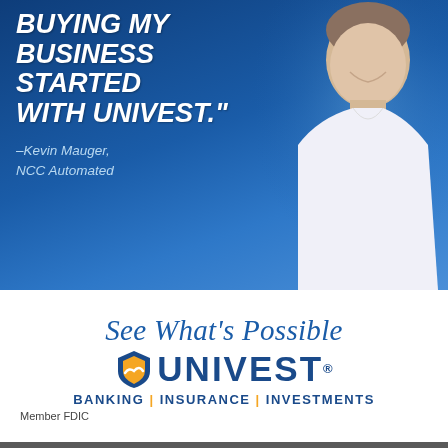[Figure (advertisement): Univest bank advertisement with blue background showing a smiling man in white shirt and quote: 'BUYING MY BUSINESS STARTED WITH UNIVEST.' attributed to Kevin Mauger, NCC Automated]
[Figure (logo): Univest branding section on white background with 'See What's Possible' in italic script, Univest shield logo, company name, and tagline 'BANKING | INSURANCE | INVESTMENTS' with 'Member FDIC']
[Figure (advertisement): Bergey's advertisement on dark gray background with text 'Family Owned & Operated Since 1950', gold AW monogram with decorative lines, and large white BERGEY text]